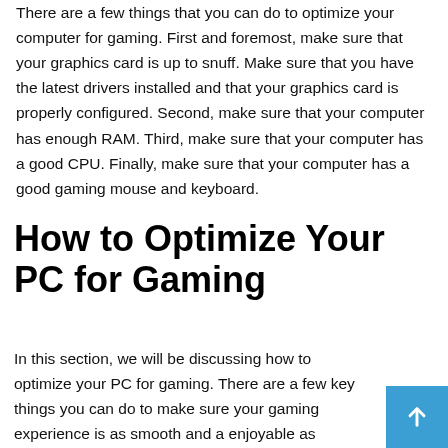There are a few things that you can do to optimize your computer for gaming. First and foremost, make sure that your graphics card is up to snuff. Make sure that you have the latest drivers installed and that your graphics card is properly configured. Second, make sure that your computer has enough RAM. Third, make sure that your computer has a good CPU. Finally, make sure that your computer has a good gaming mouse and keyboard.
How to Optimize Your PC for Gaming
In this section, we will be discussing how to optimize your PC for gaming. There are a few key things you can do to make sure your gaming experience is as smooth and as enjoyable as possible.